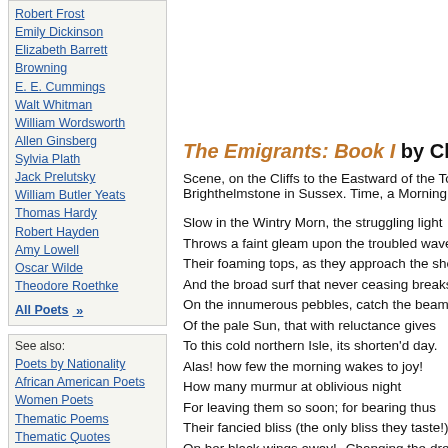Robert Frost
Emily Dickinson
Elizabeth Barrett Browning
E. E. Cummings
Walt Whitman
William Wordsworth
Allen Ginsberg
Sylvia Plath
Jack Prelutsky
William Butler Yeats
Thomas Hardy
Robert Hayden
Amy Lowell
Oscar Wilde
Theodore Roethke
All Poets »
See also:
Poets by Nationality
African American Poets
Women Poets
Thematic Poems
Thematic Quotes
Contemporary Poets
Nobel Prize Poets
American Poets
English Poets
The Emigrants: Book I by Charlotte S…
Scene, on the Cliffs to the Eastward of the Tow… Brighthelmstone in Sussex. Time, a Morning in…
Slow in the Wintry Morn, the struggling light
Throws a faint gleam upon the troubled waves…
Their foaming tops, as they approach the shor…
And the broad surf that never ceasing breaks
On the innumerous pebbles, catch the beams…
Of the pale Sun, that with reluctance gives
To this cold northern Isle, its shorten'd day.
Alas! how few the morning wakes to joy!
How many murmur at oblivious night
For leaving them so soon; for bearing thus
Their fancied bliss (the only bliss they taste!),
On her black wings away!--Changing the drea…
That sooth'd their sorrows, for calamities
(And even day brings its own sad proportion…